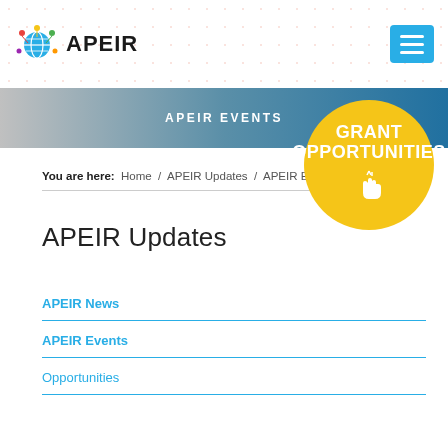APEIR
[Figure (screenshot): APEIR Events banner with gradient background showing people]
[Figure (infographic): Gold circular badge with text GRANT OPPORTUNITIES and a hand/cursor icon]
You are here: Home / APEIR Updates / APEIR Events
APEIR Updates
APEIR News
APEIR Events
Opportunities